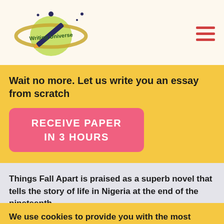[Figure (logo): Writing Universe logo — stylized planet with rings, pencil, and stars, with 'Writing Universe' text]
Wait no more. Let us write you an essay from scratch
RECEIVE PAPER IN 3 HOURS
Things Fall Apart is praised as a superb novel that tells the story of life in Nigeria at the end of the nineteenth
We use cookies to provide you with the most relevant offers only. Learn more in our Cookie Policy before accepting.
ACCEPT